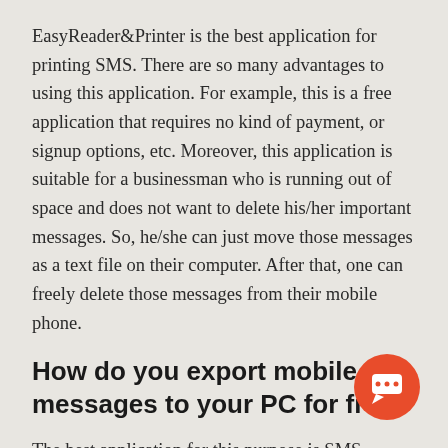EasyReader&Printer is the best application for printing SMS. There are so many advantages to using this application. For example, this is a free application that requires no kind of payment, or signup options, etc. Moreover, this application is suitable for a businessman who is running out of space and does not want to delete his/her important messages. So, he/she can just move those messages as a text file on their computer. After that, one can freely delete those messages from their mobile phone.
How do you export mobile messages to your PC for free?
The best application for this purpose is SMS EasyReader&Printer. With this application, you easily transfer those important messages to your
[Figure (other): Orange circular chat/support button with a speech bubble icon in white]